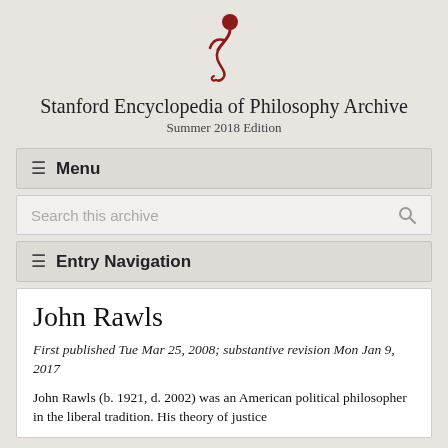[Figure (logo): Stanford Encyclopedia of Philosophy logo — a stylized red figure]
Stanford Encyclopedia of Philosophy Archive
Summer 2018 Edition
≡ Menu
Search this archive
≡ Entry Navigation
John Rawls
First published Tue Mar 25, 2008; substantive revision Mon Jan 9, 2017
John Rawls (b. 1921, d. 2002) was an American political philosopher in the liberal tradition. His theory of justice